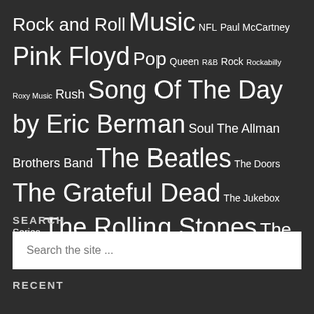Rock and Roll Music NFL Paul McCartney Pink Floyd Pop Queen R&B Rock Rockabilly Roxy Music Rush Song Of The Day by Eric Berman Soul The Allman Brothers Band The Beatles The Doors The Grateful Dead The Jukebox Series The Rolling Stones The Who U2 Van Halen Yes ZZ Top
SEARCH
Search the site ...
RECENT
Psychedelic Time Warp – Show 33